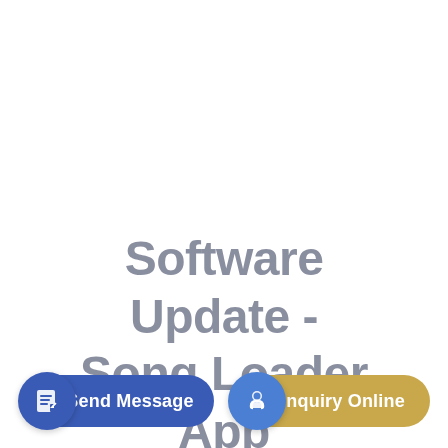Software Update - Song Loader App
[Figure (infographic): Send Message button with blue circular icon containing a document/edit icon on the left, and blue pill-shaped body with white text 'Send Message']
[Figure (infographic): Inquiry Online button with blue circular icon containing a headset/support icon on the left, and gold/tan pill-shaped body with white text 'Inquiry Online']